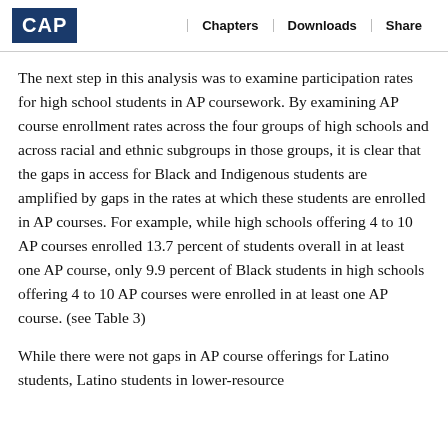CAP | Chapters | Downloads | Share
The next step in this analysis was to examine participation rates for high school students in AP coursework. By examining AP course enrollment rates across the four groups of high schools and across racial and ethnic subgroups in those groups, it is clear that the gaps in access for Black and Indigenous students are amplified by gaps in the rates at which these students are enrolled in AP courses. For example, while high schools offering 4 to 10 AP courses enrolled 13.7 percent of students overall in at least one AP course, only 9.9 percent of Black students in high schools offering 4 to 10 AP courses were enrolled in at least one AP course. (see Table 3)
While there were not gaps in AP course offerings for Latino students, Latino students in lower-resource